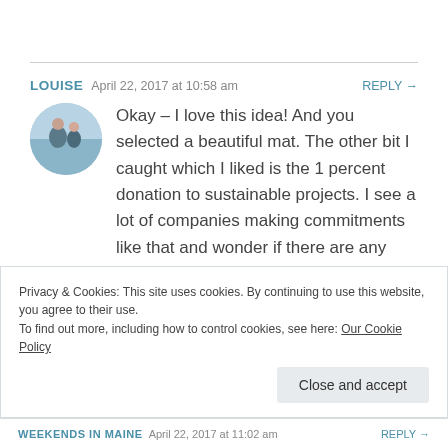LOUISE   April 22, 2017 at 10:58 am   REPLY →
[Figure (photo): Circular avatar photo of a person outdoors near water]
Okay – I love this idea! And you selected a beautiful mat. The other bit I caught which I liked is the 1 percent donation to sustainable projects. I see a lot of companies making commitments like that and wonder if there are any brought studies on the overall impact companies all together have through doing this – both quantitative as well as qualitative in directing
Privacy & Cookies: This site uses cookies. By continuing to use this website, you agree to their use.
To find out more, including how to control cookies, see here: Our Cookie Policy
Close and accept
WEEKENDS IN MAINE   April 22, 2017 at 11:02 am   REPLY →